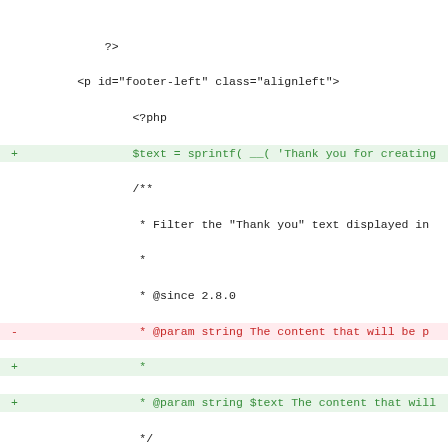Code diff view showing PHP code changes for WordPress footer functions, including admin_footer_text filter modifications and core_update_footer() documentation updates.